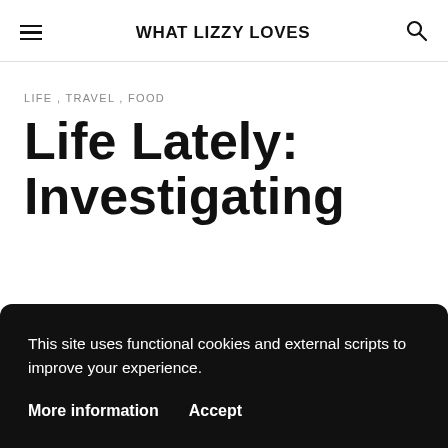WHAT LIZZY LOVES
LIFE, TRAVEL, FOOD
Life Lately: Investigating
This site uses functional cookies and external scripts to improve your experience.
More information   Accept